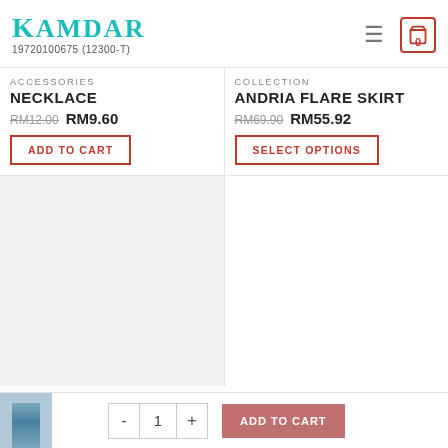KAMDAR 19720100675 (12300-T)
ACCESSORIES
NECKLACE
RM12.00 RM9.60
ADD TO CART
COLLECTION
ANDRIA FLARE SKIRT
RM69.90 RM55.92
SELECT OPTIONS
[Figure (photo): Product image placeholder (light grey box) on left; empty area on right]
- 1 + ADD TO CART